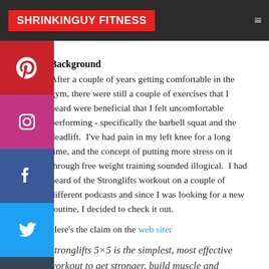SHRINKINGUY FITNESS
Background
After a couple of years getting comfortable in the gym, there were still a couple of exercises that I heard were beneficial that I felt uncomfortable performing - specifically the barbell squat and the deadlift.  I've had pain in my left knee for a long time, and the concept of putting more stress on it through free weight training sounded illogical.  I had heard of the Stronglifts workout on a couple of different podcasts and since I was looking for a new routine, I decided to check it out.
Here's the claim on the web site:
Stronglifts 5×5 is the simplest, most effective workout to get stronger, build muscle and burn